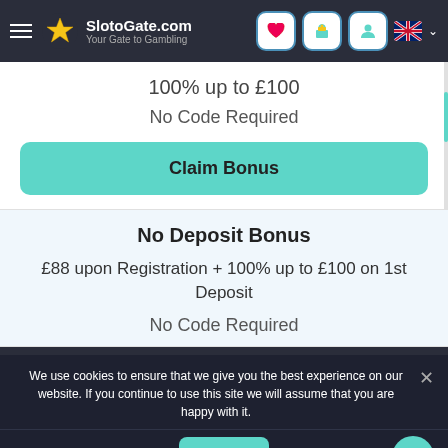SlotoGate.com — Your Gate to Gambling
100% up to £100
No Code Required
Claim Bonus
No Deposit Bonus
£88 upon Registration + 100% up to £100 on 1st Deposit
No Code Required
We use cookies to ensure that we give you the best experience on our website. If you continue to use this site we will assume that you are happy with it.
Ok